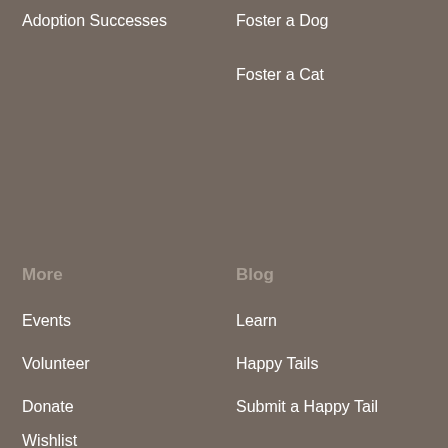Adoption Successes
Foster a Dog
Foster a Cat
More
Blog
Events
Learn
Volunteer
Happy Tails
Donate
Submit a Happy Tail
Wishlist